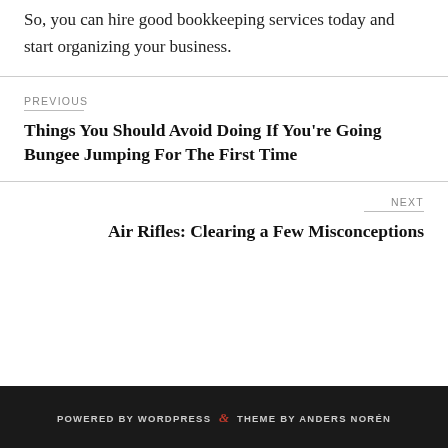So, you can hire good bookkeeping services today and start organizing your business.
PREVIOUS
Things You Should Avoid Doing If You're Going Bungee Jumping For The First Time
NEXT
Air Rifles: Clearing a Few Misconceptions
POWERED BY WORDPRESS & THEME BY ANDERS NORÉN